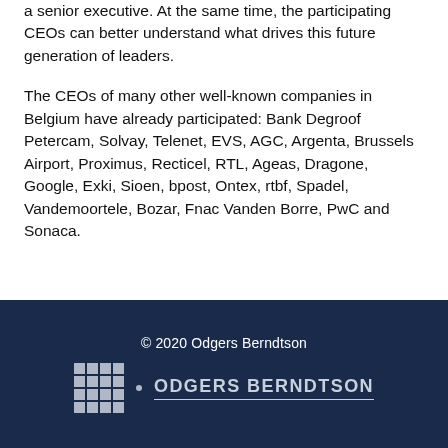a senior executive. At the same time, the participating CEOs can better understand what drives this future generation of leaders.
The CEOs of many other well-known companies in Belgium have already participated: Bank Degroof Petercam, Solvay, Telenet, EVS, AGC, Argenta, Brussels Airport, Proximus, Recticel, RTL, Ageas, Dragone, Google, Exki, Sioen, bpost, Ontex, rtbf, Spadel, Vandemoortele, Bozar, Fnac Vanden Borre, PwC and Sonaca.
© 2020 Odgers Berndtson